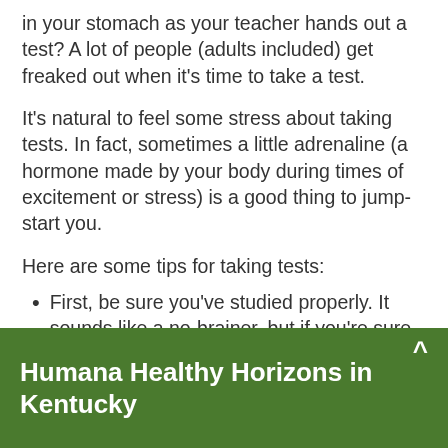in your stomach as your teacher hands out a test? A lot of people (adults included) get freaked out when it's time to take a test.
It's natural to feel some stress about taking tests. In fact, sometimes a little adrenaline (a hormone made by your body during times of excitement or stress) is a good thing to jump-start you.
Here are some tips for taking tests:
First, be sure you've studied properly. It sounds like a no-brainer, but if you're sure of the information, you'll be much more relaxed.
Humana Healthy Horizons in Kentucky